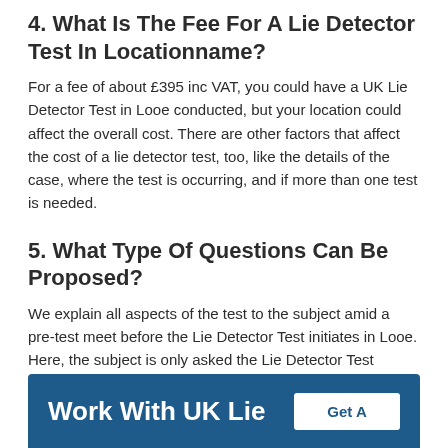4. What Is The Fee For A Lie Detector Test In Locationname?
For a fee of about £395 inc VAT, you could have a UK Lie Detector Test in Looe conducted, but your location could affect the overall cost. There are other factors that affect the cost of a lie detector test, too, like the details of the case, where the test is occurring, and if more than one test is needed.
5. What Type Of Questions Can Be Proposed?
We explain all aspects of the test to the subject amid a pre-test meet before the Lie Detector Test initiates in Looe. Here, the subject is only asked the Lie Detector Test related questions and not questions to trick them. UK Lie Detector Test in Looe will never inquire personal, imprudent or intrusive questions and no accredited expert examiner ought to do as such.
[Figure (infographic): Dark blue banner with white bold text 'Work With UK Lie' on the left and a white button with text 'Get A' on the right]